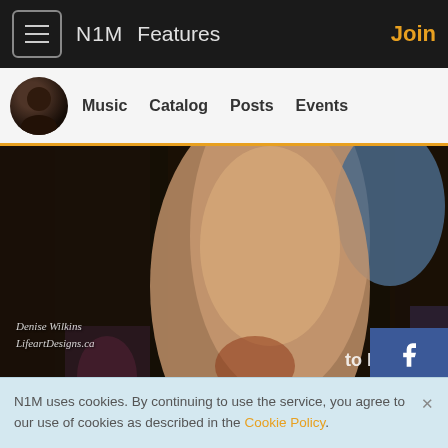N1M  Features  Join
Music  Catalog  Posts  Events
[Figure (photo): Close-up photo of a person's leg/knee area with bar stools and partial text visible, watermarked with 'Denise Wilkins LifeartDesigns.ca']
Douglas MacKenzie
5 months ago
N1M uses cookies. By continuing to use the service, you agree to our use of cookies as described in the Cookie Policy.